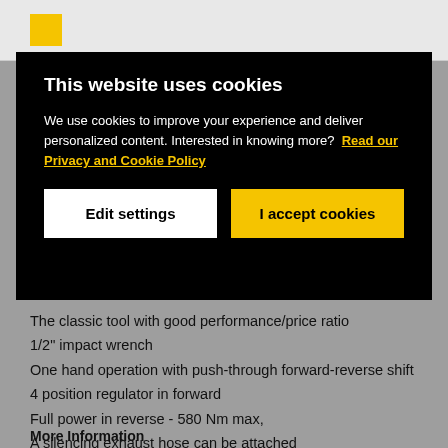[Figure (screenshot): Top bar with yellow logo box on gray/white header]
This website uses cookies
We use cookies to improve your experience and deliver personalized content. Interested in knowing more?  Read our Privacy and Cookie Policy
Edit settings
I accept cookies
The classic tool with good performance/price ratio
1/2" impact wrench
One hand operation with push-through forward-reverse shift
4 position regulator in forward
Full power in reverse - 580 Nm max,
A silencing exhaust hose can be attached
More Information